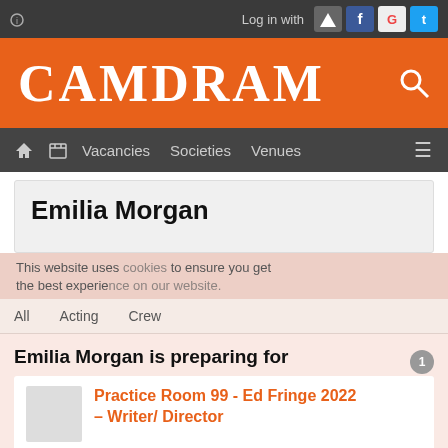Log in with [Camdram] [Facebook] [Google] [Twitter]
CAMDRAM
Vacancies  Societies  Venues
Emilia Morgan
This website uses cookies to ensure you get the best experience on our website.
All  Acting  Crew
Emilia Morgan is preparing for
Practice Room 99 - Ed Fringe 2022 – Writer/ Director
16:00, Mon 22nd – Sat 27th August 2022 at TheSpace Triplex Studio, Surgeons Hall,